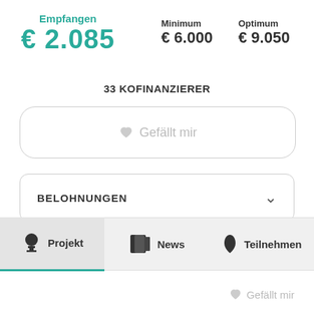Empfangen
€ 2.085
Minimum
€ 6.000
Optimum
€ 9.050
33 KOFINANZIERER
♥ Gefällt mir
BELOHNUNGEN
Projekt
News
Teilnehmen
♥ Gefällt mir